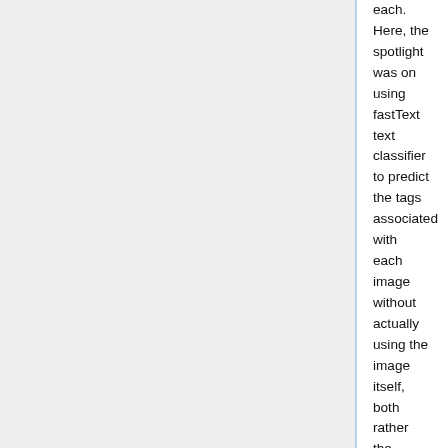each. Here, the spotlight was on using fastText text classifier to predict the tags associated with each image without actually using the image itself, both rather the information associated with the image such as the title and caption of the image.
The methodology behind this classification problem was to remove the words and tags that occur less than 100 times and split the data into a train, validation and test set. The train set consists of approximately 90% of the dataset, the validation set consists of approximately 1%, and the test set of 0.5%. Table 4 shows an example of 5 items in the validation set with their Inputs (title and caption), Prediction (the tag class they are classified to) and Tags (real image tags), highlighting when the